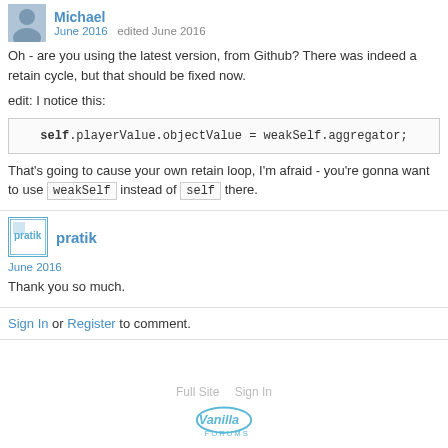Michael
June 2016   edited June 2016
Oh - are you using the latest version, from Github? There was indeed a retain cycle, but that should be fixed now.
edit: I notice this:
That's going to cause your own retain loop, I'm afraid - you're gonna want to use weakSelf instead of self there.
pratik
June 2016
Thank you so much.
Sign In or Register to comment.
Full Site   Sign In